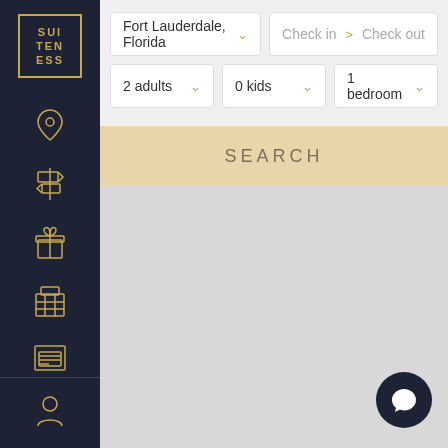[Figure (screenshot): Suiteness hotel booking app interface showing a dark navy left sidebar with gold logo and icons, and a main search area with location field showing 'Fort Lauderdale, Florida', check in/check out fields, dropdowns for 2 adults, 0 kids, 1 bedroom, a tan SEARCH button, and a gray map area below with a dark chat button in the bottom right.]